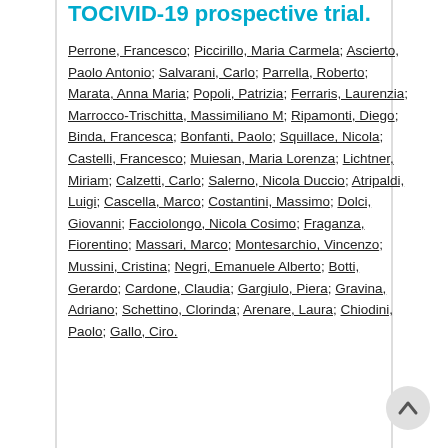TOCIVID-19 prospective trial.
Perrone, Francesco; Piccirillo, Maria Carmela; Ascierto, Paolo Antonio; Salvarani, Carlo; Parrella, Roberto; Marata, Anna Maria; Popoli, Patrizia; Ferraris, Laurenzia; Marrocco-Trischitta, Massimiliano M; Ripamonti, Diego; Binda, Francesca; Bonfanti, Paolo; Squillace, Nicola; Castelli, Francesco; Muiesan, Maria Lorenza; Lichtner, Miriam; Calzetti, Carlo; Salerno, Nicola Duccio; Atripaldi, Luigi; Cascella, Marco; Costantini, Massimo; Dolci, Giovanni; Facciolongo, Nicola Cosimo; Fraganza, Fiorentino; Massari, Marco; Montesarchio, Vincenzo; Mussini, Cristina; Negri, Emanuele Alberto; Botti, Gerardo; Cardone, Claudia; Gargiulo, Piera; Gravina, Adriano; Schettino, Clorinda; Arenare, Laura; Chiodini, Paolo; Gallo, Ciro.